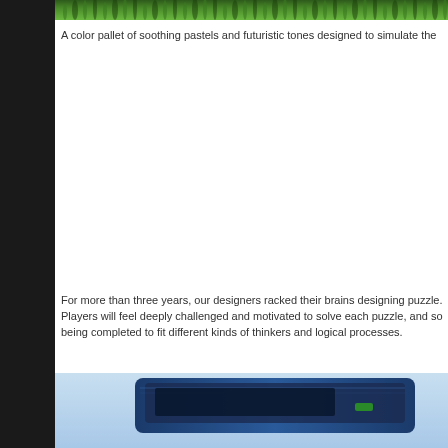[Figure (photo): Green grass/foliage image strip at the top of the page]
A color pallet of soothing pastels and futuristic tones designed to simulate the
For more than three years, our designers racked their brains designing puzzle. Players will feel deeply challenged and motivated to solve each puzzle, and so being completed to fit different kinds of thinkers and logical processes.
[Figure (photo): Blue device/technology image at the bottom of the page]